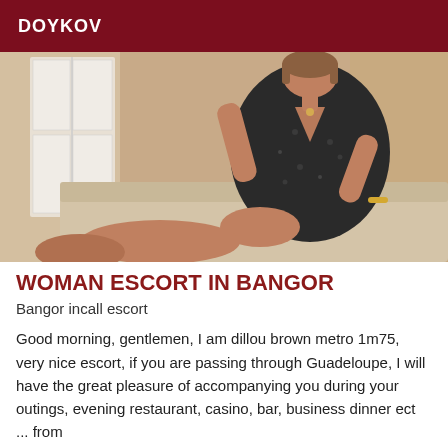DOYKOV
[Figure (photo): A woman in a dark floral dress seated on a beige couch/sofa, photographed indoors with white wardrobe doors visible in the background.]
WOMAN ESCORT IN BANGOR
Bangor incall escort
Good morning, gentlemen, I am dillou brown metro 1m75, very nice escort, if you are passing through Guadeloupe, I will have the great pleasure of accompanying you during your outings, evening restaurant, casino, bar, business dinner ect ... from